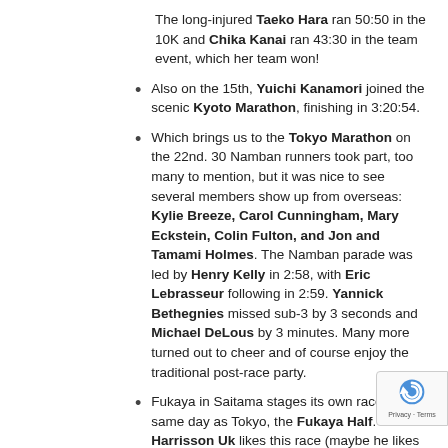The long-injured Taeko Hara ran 50:50 in the 10K and Chika Kanai ran 43:30 in the team event, which her team won!
Also on the 15th, Yuichi Kanamori joined the scenic Kyoto Marathon, finishing in 3:20:54.
Which brings us to the Tokyo Marathon on the 22nd. 30 Namban runners took part, too many to mention, but it was nice to see several members show up from overseas: Kylie Breeze, Carol Cunningham, Mary Eckstein, Colin Fulton, and Jon and Tamami Holmes. The Namban parade was led by Henry Kelly in 2:58, with Eric Lebrasseur following in 2:59. Yannick Bethegnies missed sub-3 by 3 seconds and Michael DeLous by 3 minutes. Many more turned out to cheer and of course enjoy the traditional post-race party.
Fukaya in Saitama stages its own race on the same day as Tokyo, the Fukaya Half. Harrisson Uk likes this race (maybe he likes the leeks they give away) and did an "easy run" in 1:20. Satohi Numasawa ran 1:34 and Harrisson-coached Yukiko Shimada was very happy with her 1:38:56 PB.
Also on the 22nd, Mami Hashimoto was in Himeji (Hyog... pref.) for the Himeji Castle Marathon, which she finishe... 3:43:55.